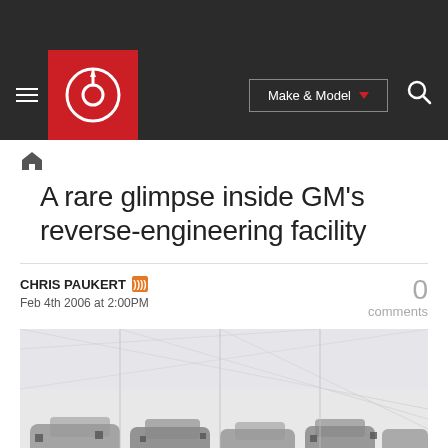Autoblog navigation header with logo, Make & Model dropdown, and search icon
A rare glimpse inside GM's reverse-engineering facility
CHRIS PAUKERT
Feb 4th 2006 at 2:00PM
0 comments
[Figure (photo): Interior of GM reverse-engineering facility showing rows of disassembled car bodies and frames in a large warehouse]